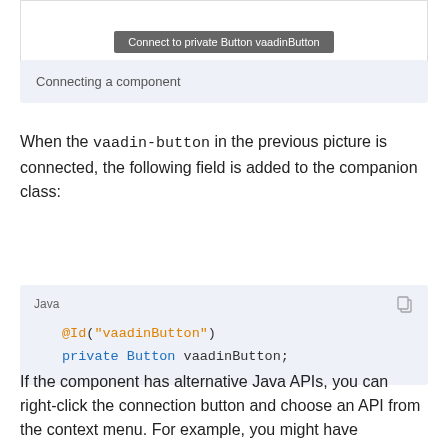[Figure (screenshot): Button labeled 'Connect to private Button vaadinButton' on a grey background]
Connecting a component
When the vaadin-button in the previous picture is connected, the following field is added to the companion class:
Java
@Id("vaadinButton")
private Button vaadinButton;
If the component has alternative Java APIs, you can right-click the connection button and choose an API from the context menu. For example, you might have